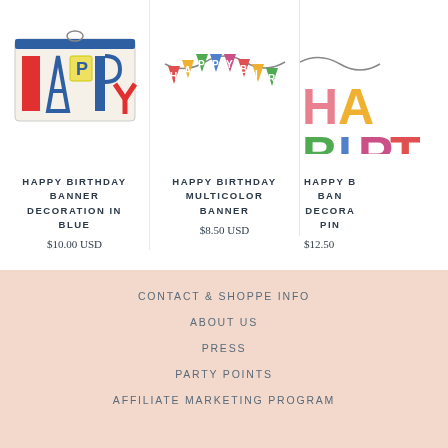[Figure (photo): HAPPY birthday banner decoration in blue, in packaging box]
HAPPY BIRTHDAY BANNER DECORATION IN BLUE
$10.00 USD
[Figure (photo): Happy Birthday multicolor banner garland with colorful letter flags]
HAPPY BIRTHDAY MULTICOLOR BANNER
$8.50 USD
[Figure (photo): Happy Birthday banner decoration in pink, partially visible]
HAPPY BIRTHDAY BANNER DECORATION IN PINK
$12.50
CONTACT & SHOPPE INFO
ABOUT US
PRESS
PARTY POINTS
AFFILIATE MARKETING PROGRAM